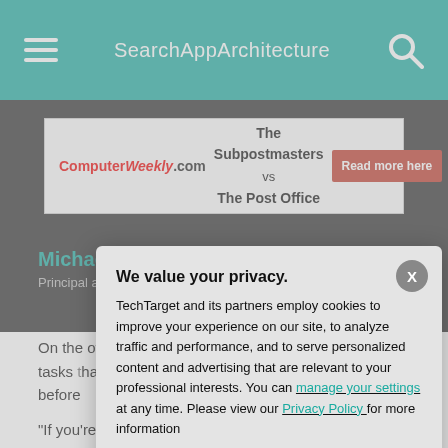SearchAppArchitecture
[Figure (screenshot): Advertisement banner: ComputerWeekly.com - The Subpostmasters vs The Post Office - Read more here]
Michael Larner
Principal analyst
On the other hand element in BPA. automate tasks that BPA softwa first optimize the possible before
"If you're using B
We value your privacy. TechTarget and its partners employ cookies to improve your experience on our site, to analyze traffic and performance, and to serve personalized content and advertising that are relevant to your professional interests. You can manage your settings at any time. Please view our Privacy Policy for more information